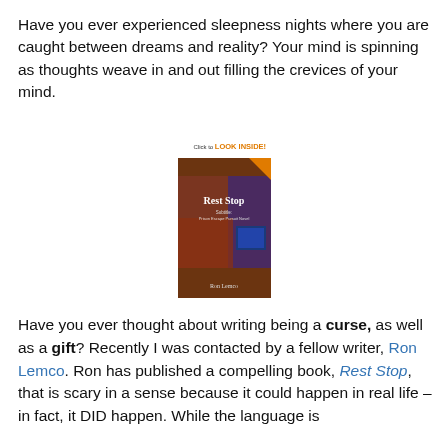Have you ever experienced sleepness nights where you are caught between dreams and reality? Your mind is spinning as thoughts weave in and out filling the crevices of your mind.
[Figure (photo): Book cover of 'Rest Stop' by Ron Lemco with a 'Click to LOOK INSIDE!' banner in the top right corner.]
Have you ever thought about writing being a curse, as well as a gift? Recently I was contacted by a fellow writer, Ron Lemco. Ron has published a compelling book, Rest Stop, that is scary in a sense because it could happen in real life – in fact, it DID happen. While the language is